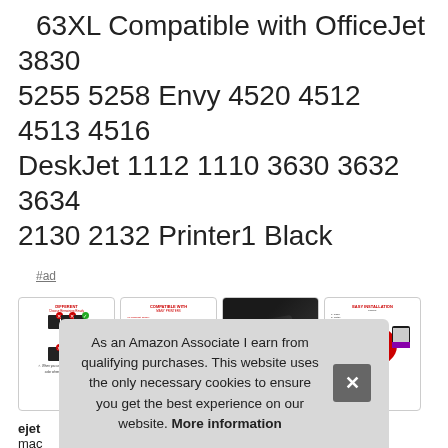63XL Compatible with OfficeJet 3830 5255 5258 Envy 4520 4512 4513 4516 DeskJet 1112 1110 3630 3632 3634 2130 2132 Printer1 Black
#ad
[Figure (photo): Four product thumbnail images showing ink cartridge compatibility charts, a person at a printer, a close-up of an ink cartridge, and an easy installation graphic.]
ejet ... mac ... 63xl ... prin...
As an Amazon Associate I earn from qualifying purchases. This website uses the only necessary cookies to ensure you get the best experience on our website. More information